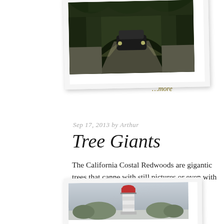[Figure (photo): Photo of a car driving through a tunnel in the redwood trees, framed like a polaroid photo with white border]
Bonnie and I ha they grow. They the diameter at who delights in
…more
Sep 17, 2013 by Arthur
Tree Giants
The California Costal Redwoods are gigantic trees that canne with still pictures or even with videos.
…more
[Figure (photo): Photo of a red-topped lighthouse against a grey sky, framed like a polaroid photo]
Sep 15, 2013 by